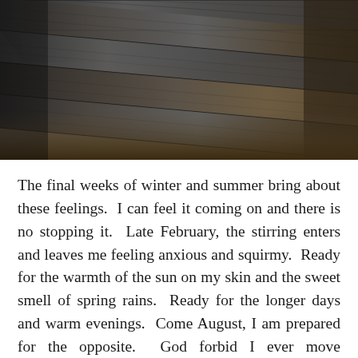[Figure (photo): Close-up photograph of wooden planks or boards, dark tones with grey and brown textures, shot at an angle. The wood grain runs diagonally across the frame.]
The final weeks of winter and summer bring about these feelings.  I can feel it coming on and there is no stopping it.  Late February, the stirring enters and leaves me feeling anxious and squirmy.  Ready for the warmth of the sun on my skin and the sweet smell of spring rains.  Ready for the longer days and warm evenings.  Come August, I am prepared for the opposite.  God forbid I ever move somewhere with no distinct seasons.  Would I ever be able to shake the funk?  Where would